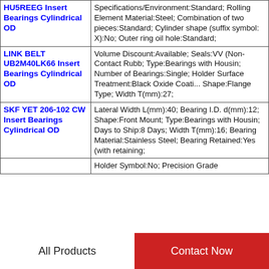| Product | Specifications |
| --- | --- |
| HU5REEG Insert Bearings Cylindrical OD | Specifications/Environment:Standard; Rolling Element Material:Steel; Combination of two pieces:Standard; Cylinder shape (suffix symbol: X):No; Outer ring oil hole:Standard; |
| LINK BELT UB2M40LK66 Insert Bearings Cylindrical OD | Volume Discount:Available; Seals:VV (Non-Contact Rubb; Type:Bearings with Housin; Number of Bearings:Single; Holder Surface Treatment:Black Oxide Coati... Shape:Flange Type; Width T(mm):27; |
| SKF YET 206-102 CW Insert Bearings Cylindrical OD | Lateral Width L(mm):40; Bearing I.D. d(mm):12; Shape:Front Mount; Type:Bearings with Housin; Days to Ship:8 Days; Width T(mm):16; Bearing Material:Stainless Steel; Bearing Retained:Yes (with retaining; |
|  | Holder Symbol:No; Precision Grade |
All Products   Contact Now